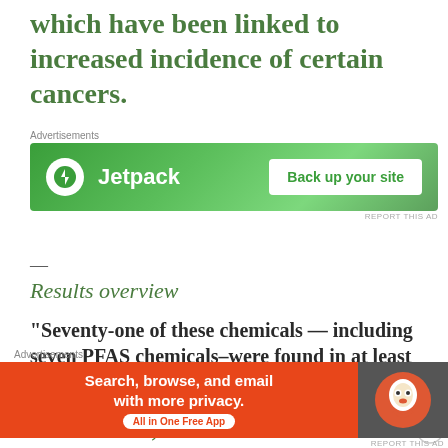which have been linked to increased incidence of certain cancers.
[Figure (screenshot): Jetpack advertisement banner: green background, Jetpack logo with lightning bolt, text 'Jetpack', button 'Back up your site']
—
Results overview
“Seventy-one of these chemicals — including seven PFAS chemicals–were found in at least half of the bands.
Levels of PAH, brominated flame retardants
[Figure (screenshot): DuckDuckGo advertisement banner: orange left panel with text 'Search, browse, and email with more privacy. All in One Free App', dark right panel with DuckDuckGo logo]